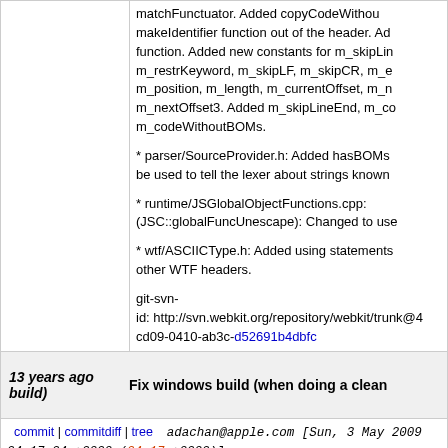matchFunctuator. Added copyCodeWithout makeIdentifier function out of the header. Ad function. Added new constants for m_skipLin m_restrKeyword, m_skipLF, m_skipCR, m_e m_position, m_length, m_currentOffset, m_n m_nextOffset3. Added m_skipLineEnd, m_co m_codeWithoutBOMs.
* parser/SourceProvider.h: Added hasBOMs be used to tell the lexer about strings known
* runtime/JSGlobalObjectFunctions.cpp: (JSC::globalFuncUnescape): Changed to use
* wtf/ASCIICType.h: Added using statements other WTF headers.
git-svn-id: http://svn.webkit.org/repository/webkit/trunk@4 cd09-0410-ab3c-d52691b4dbfc
13 years ago   Fix windows build (when doing a clean build)
commit | commitdiff | tree   adachan@apple.com [Sun, 3 May 2009 04:17:04 +0000 (04:17 +0000)]
Fix windows build (when doing a clean build)
* JavaScriptCore.vcproj/JavaScriptCore/Java